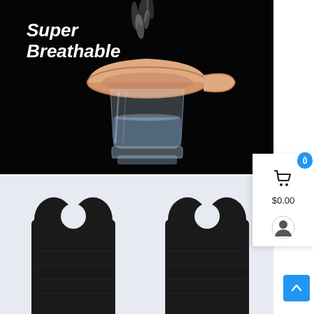[Figure (photo): Product photo on black background showing a breathable insole or silicone cup cover with text 'Super Breathable' in white italic, steam rising from a cup of water with a peach/skin-colored bowl-shaped cover on top]
[Figure (photo): Two black toe-separator insoles on a light lavender/gray background, showing split-toe design]
0
$0.00